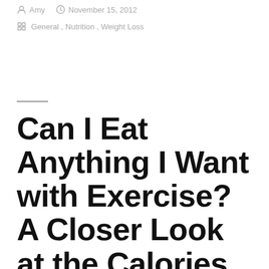Amy  November 15, 2012
General , Nutrition , Weight Loss
Can I Eat Anything I Want with Exercise? A Closer Look at the Calories In vs. Calories Out Equation